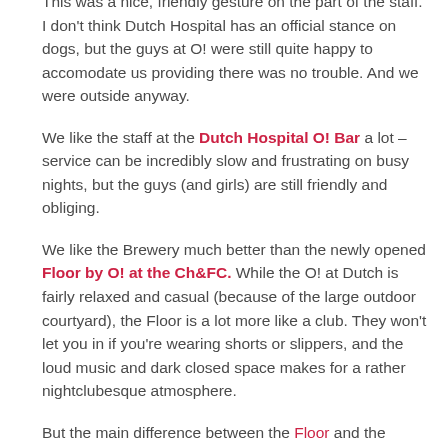This was a nice, friendly gesture on the part of the staff. I don't think Dutch Hospital has an official stance on dogs, but the guys at O! were still quite happy to accomodate us providing there was no trouble. And we were outside anyway.
We like the staff at the Dutch Hospital O! Bar a lot – service can be incredibly slow and frustrating on busy nights, but the guys (and girls) are still friendly and obliging.
We like the Brewery much better than the newly opened Floor by O! at the Ch&FC. While the O! at Dutch is fairly relaxed and casual (because of the large outdoor courtyard), the Floor is a lot more like a club. They won't let you in if you're wearing shorts or slippers, and the loud music and dark closed space makes for a rather nightclubesque atmosphere.
But the main difference between the Floor and the Brewery? At the Brewery they let the dog in, at Floor they didn't let Indi in.